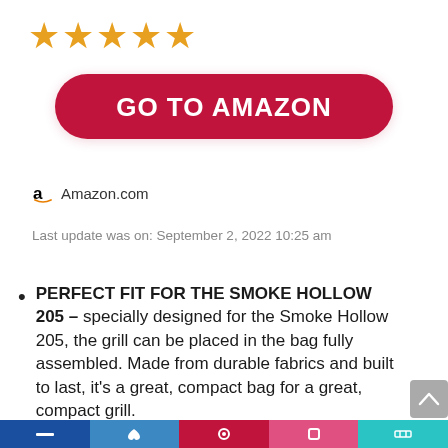[Figure (other): Five gold/orange star rating icons]
[Figure (other): Red rounded button with white bold text 'GO TO AMAZON']
Amazon.com
Last update was on: September 2, 2022 10:25 am
PERFECT FIT FOR THE SMOKE HOLLOW 205 – specially designed for the Smoke Hollow 205, the grill can be placed in the bag fully assembled. Made from durable fabrics and built to last, it's a great, compact bag for a great, compact grill.
FITS MANY TABLETOP GRILLS - designed as a Smoke Hollow grill cover, this heavy duty bag is a